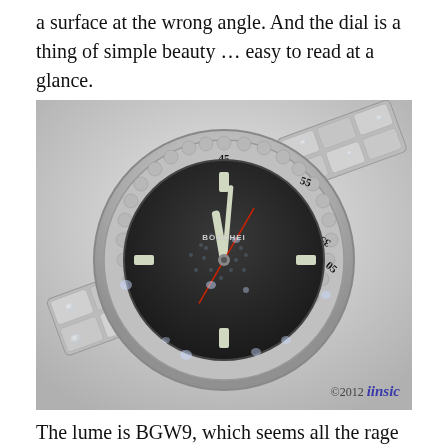a surface at the wrong angle. And the dial is a thing of simple beauty … easy to read at a glance.
[Figure (photo): Close-up photo of a stainless steel diver's watch with a rotating bezel marked with numbers (5, 10, 15, 20, 25, 35, 45, 55), a dark dial with luminous hour markers, a red seconds hand, and a bracelet-style band. The watch is wet with water droplets. Brand name BOSCHEI visible on dial. Watermark: ©2012 iinsic.]
The lume is BGW9, which seems all the rage these days (as C3 was not that long ago). So much lumed area is considered on the dial and hands that full darkness can